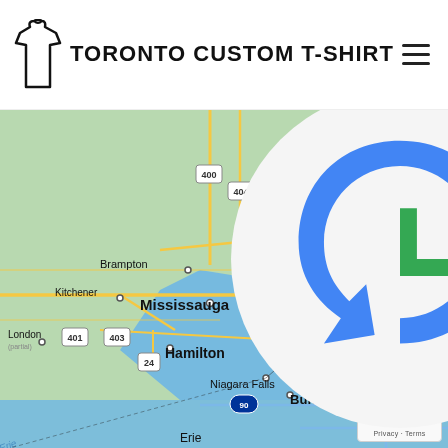TORONTO CUSTOM T-SHIRT
[Figure (map): Google Maps view of the Greater Toronto Area and surrounding region, showing cities including Toronto, Mississauga, Brampton, Hamilton, Kitchener, London, Niagara Falls, Buffalo, Rochester, Peterborough, Belleville, Prince Edward, and Erie. Lake Ontario is prominently visible. Highway labels include 400, 404, 407, 401, 115, 403, 24, 90, 390, 86.]